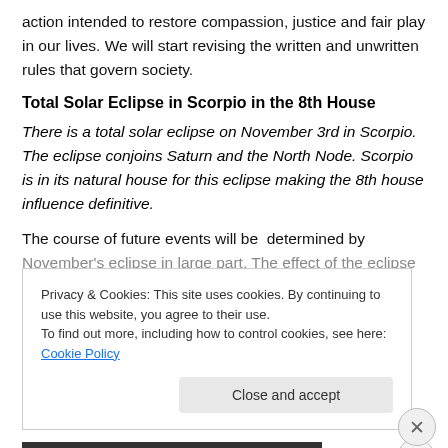action intended to restore compassion, justice and fair play in our lives. We will start revising the written and unwritten rules that govern society.
Total Solar Eclipse in Scorpio in the 8th House
There is a total solar eclipse on November 3rd in Scorpio. The eclipse conjoins Saturn and the North Node. Scorpio is in its natural house for this eclipse making the 8th house influence definitive.
The course of future events will be  determined by
November's eclipse in large part. The effect of the eclipse
Privacy & Cookies: This site uses cookies. By continuing to use this website, you agree to their use.
To find out more, including how to control cookies, see here: Cookie Policy
Close and accept